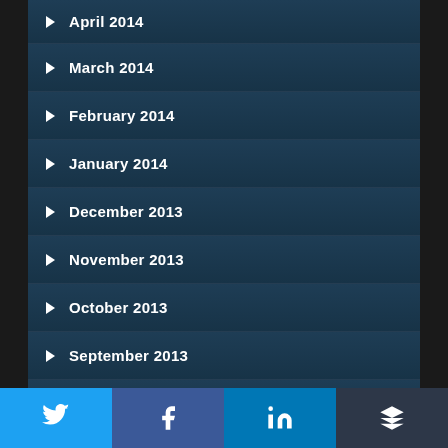April 2014
March 2014
February 2014
January 2014
December 2013
November 2013
October 2013
September 2013
August 2013
July 2013
Twitter | Facebook | LinkedIn | Buffer